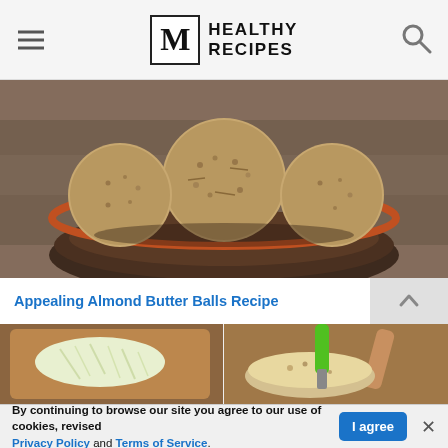M HEALTHY RECIPES
[Figure (photo): Overhead photo of almond butter balls coated in oats/coconut in a dark ceramic bowl on a wooden table]
Appealing Almond Butter Balls Recipe
[Figure (photo): Two side-by-side food photos: shredded cabbage on cutting board, and a bowl of oat mixture with a green-handled knife]
By continuing to browse our site you agree to our use of cookies, revised Privacy Policy and Terms of Service.
189 Shares